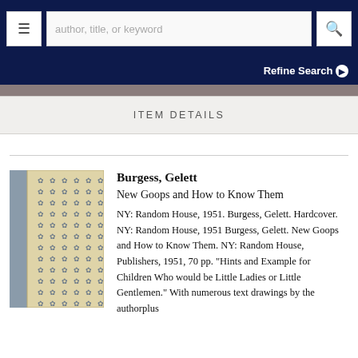author, title, or keyword [search bar with menu and search icons]
Refine Search
ITEM DETAILS
[Figure (photo): Book cover of 'New Goops and How to Know Them' by Burgess, Gelett. Shows a decorative patterned cover with floral/snowflake motifs on beige/cream background with gray spine.]
Burgess, Gelett
New Goops and How to Know Them
NY: Random House, 1951. Burgess, Gelett. Hardcover. NY: Random House, 1951 Burgess, Gelett. New Goops and How to Know Them. NY: Random House, Publishers, 1951, 70 pp. "Hints and Example for Children Who would be Little Ladies or Little Gentlemen." With numerous text drawings by the authorplus